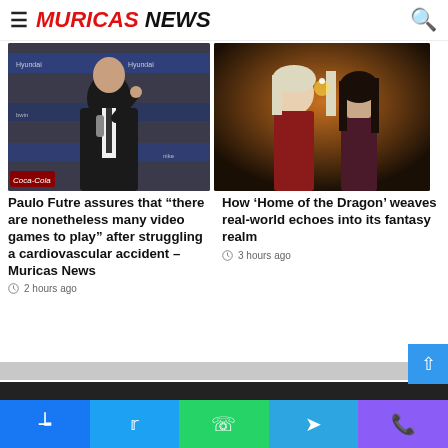MURICAS NEWS
[Figure (photo): Man in suit speaking into microphone at press conference with sponsor banners in background]
Paulo Futre assures that “there are nonetheless many video games to play” after struggling a cardiovascular accident – Muricas News
2 hours ago
[Figure (photo): Two women in period costume, one with light hair, lit by candlelight, from House of the Dragon]
How ‘Home of the Dragon’ weaves real-world echoes into its fantasy realm
3 hours ago
Social share bar: Facebook, Twitter, WhatsApp, Telegram, Phone